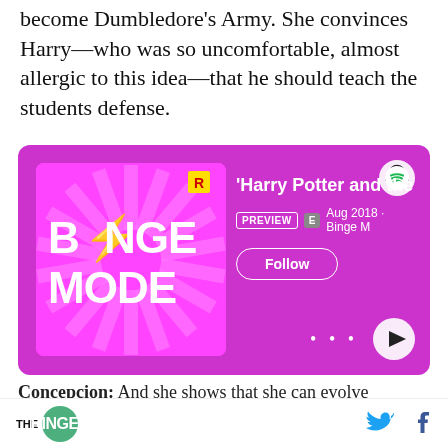become Dumbledore's Army. She convinces Harry—who was so uncomfortable, almost allergic to this idea—that he should teach the students defense.
[Figure (screenshot): Spotify podcast card for 'Binge Mode' showing 'Harry Potter and the' episode, with PREVIEW and E badges, Aug 2018 · Binge M, Follow button, and playback controls on a purple/magenta background.]
Concepcion: And she shows that she can evolve
THE RINGER